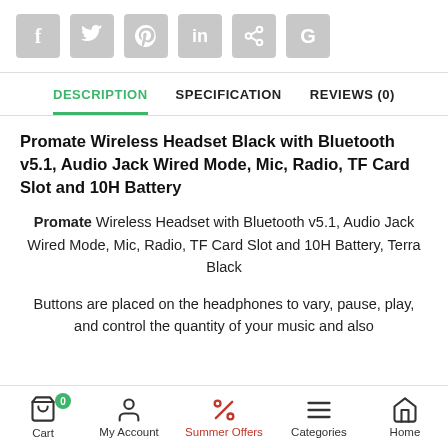[Figure (other): Social media share icons: Facebook, Twitter, Pinterest, LinkedIn, Share, Google]
DESCRIPTION | SPECIFICATION | REVIEWS (0)
Promate Wireless Headset Black with Bluetooth v5.1, Audio Jack Wired Mode, Mic, Radio, TF Card Slot and 10H Battery
Promate Wireless Headset with Bluetooth v5.1, Audio Jack Wired Mode, Mic, Radio, TF Card Slot and 10H Battery, Terra Black
Buttons are placed on the headphones to vary, pause, play, and control the quantity of your music and also
[Figure (other): Bottom navigation bar with Cart (badge 0), My Account, Summer Offers, Categories, Home icons]